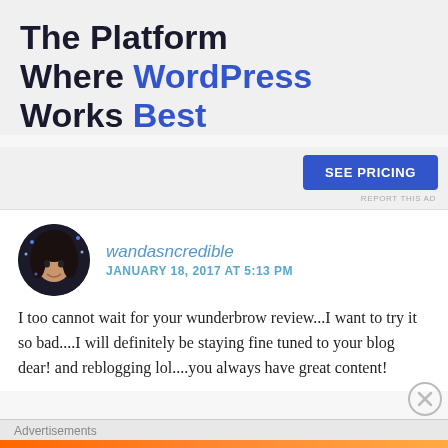The Platform Where WordPress Works Best
[Figure (other): Blue 'SEE PRICING' button]
REPORT THIS AD
[Figure (photo): Circular avatar photo of commenter wandasncredible]
wandasncredible
JANUARY 18, 2017 AT 5:13 PM
I too cannot wait for your wunderbrow review...I want to try it so bad....I will definitely be staying fine tuned to your blog dear! and reblogging lol....you always have great content!
Advertisements